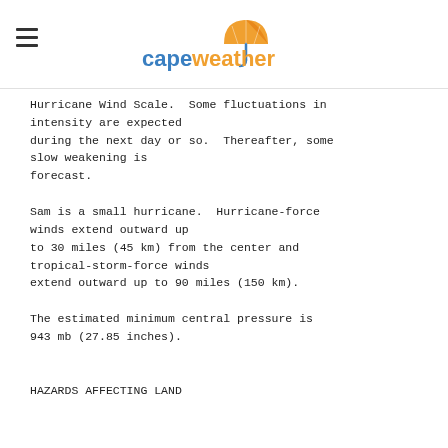capeweather
Hurricane Wind Scale.  Some fluctuations in intensity are expected during the next day or so.  Thereafter, some slow weakening is forecast.
Sam is a small hurricane.  Hurricane-force winds extend outward up to 30 miles (45 km) from the center and tropical-storm-force winds extend outward up to 90 miles (150 km).
The estimated minimum central pressure is 943 mb (27.85 inches).
HAZARDS AFFECTING LAND